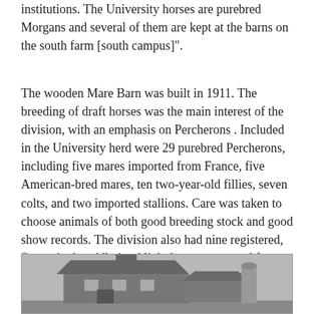institutions. The University horses are purebred Morgans and several of them are kept at the barns on the south farm [south campus]".
The wooden Mare Barn was built in 1911. The breeding of draft horses was the main interest of the division, with an emphasis on Percherons . Included in the University herd were 29 purebred Percherons, including five mares imported from France, five American-bred mares, ten two-year-old fillies, seven colts, and two imported stallions. Care was taken to choose animals of both good breeding stock and good show records. The division also had nine registered, five-gaited, saddle-bred light horse mares and four hackney ponies. For farm work there were ten to fifteen geldings and mules.
[Figure (photo): Black and white photograph of a barn building, partially visible at the bottom of the page.]